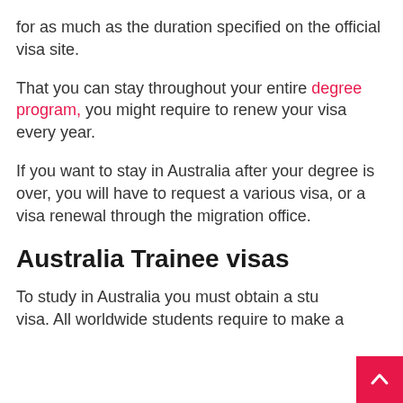for as much as the duration specified on the official visa site.
That you can stay throughout your entire degree program, you might require to renew your visa every year.
If you want to stay in Australia after your degree is over, you will have to request a various visa, or a visa renewal through the migration office.
Australia Trainee visas
To study in Australia you must obtain a student visa. All worldwide students require to make an